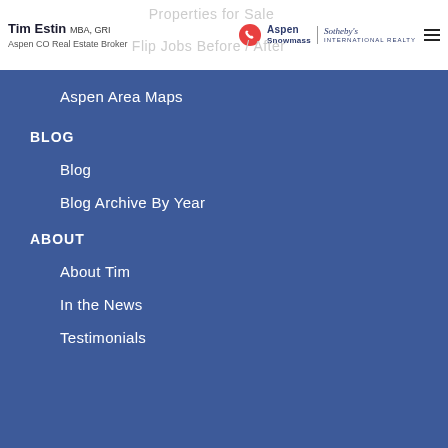Tim Estin MBA, GRI | Aspen CO Real Estate Broker | Aspen Snowmass | Sotheby's International Realty
Properties for Sale
Flip Jobs  Before / After
Aspen Area Maps
BLOG
Blog
Blog Archive By Year
ABOUT
About Tim
In the News
Testimonials